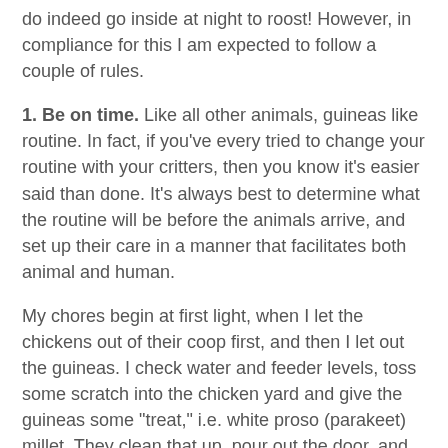do indeed go inside at night to roost! However, in compliance for this I am expected to follow a couple of rules.
1. Be on time. Like all other animals, guineas like routine. In fact, if you've every tried to change your routine with your critters, then you know it's easier said than done. It's always best to determine what the routine will be before the animals arrive, and set up their care in a manner that facilitates both animal and human.
My chores begin at first light, when I let the chickens out of their coop first, and then I let out the guineas. I check water and feeder levels, toss some scratch into the chicken yard and give the guineas some "treat," i.e. white proso (parakeet) millet. They clean that up, pour out the door, and fly up to the top of the roof of the buck barn. After their morning conference, they set up a squawk and fly off the roof and into the corn patch. They look like ducks coming in for a pond landing.
After evening milking and before dusk, I make my final check on the guineas and put them up for the night. They are